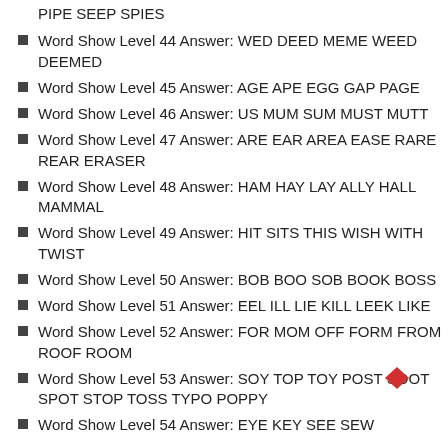PIPE SEEP SPIES
Word Show Level 44 Answer: WED DEED MEME WEED DEEMED
Word Show Level 45 Answer: AGE APE EGG GAP PAGE
Word Show Level 46 Answer: US MUM SUM MUST MUTT
Word Show Level 47 Answer: ARE EAR AREA EASE RARE REAR ERASER
Word Show Level 48 Answer: HAM HAY LAY ALLY HALL MAMMAL
Word Show Level 49 Answer: HIT SITS THIS WISH WITH TWIST
Word Show Level 50 Answer: BOB BOO SOB BOOK BOSS
Word Show Level 51 Answer: EEL ILL LIE KILL LEEK LIKE
Word Show Level 52 Answer: FOR MOM OFF FORM FROM ROOF ROOM
Word Show Level 53 Answer: SOY TOP TOY POST SOOT SPOT STOP TOSS TYPO POPPY
Word Show Level 54 Answer: EYE KEY SEE SEW